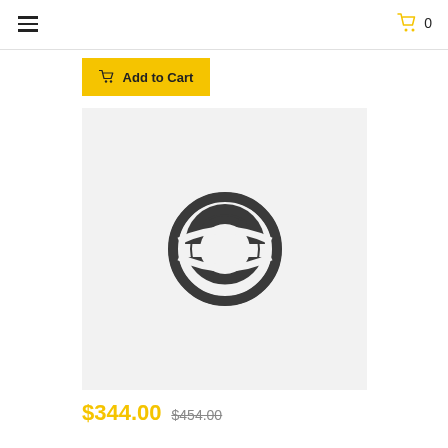≡  0
Add to Cart
[Figure (illustration): Product placeholder image on light gray background showing a circular loading/spinner icon in dark gray]
$344.00  $454.00